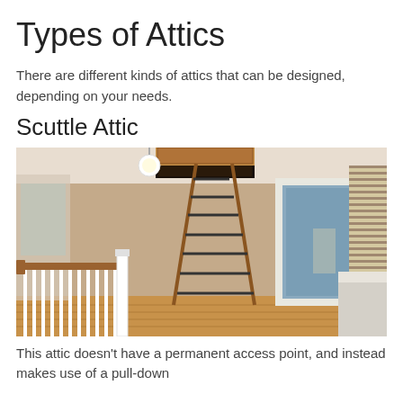Types of Attics
There are different kinds of attics that can be designed, depending on your needs.
Scuttle Attic
[Figure (photo): Interior room photo showing a pull-down attic ladder descending from a ceiling hatch. Visible features include a staircase railing with wooden banister, an open doorway leading to a blue room, hardwood floors, beige/tan walls, a pendant light fixture on the ceiling, and window blinds on the right side.]
This attic doesn’t have a permanent access point, and instead makes use of a pull-down